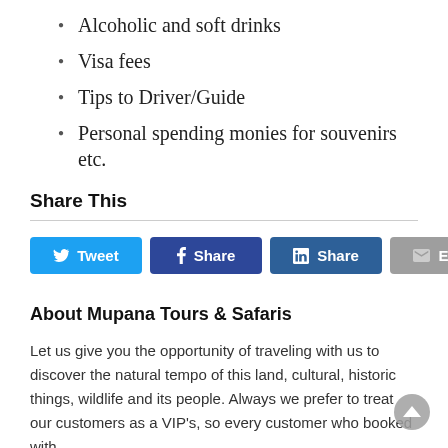Alcoholic and soft drinks
Visa fees
Tips to Driver/Guide
Personal spending monies for souvenirs etc.
Share This
[Figure (infographic): Social share buttons: Tweet (Twitter/blue), Share (Facebook/dark blue), Share (LinkedIn/medium blue), Email (grey)]
About Mupana Tours & Safaris
Let us give you the opportunity of traveling with us to discover the natural tempo of this land, cultural, historic things, wildlife and its people. Always we prefer to treat our customers as a VIP's, so every customer who booked with